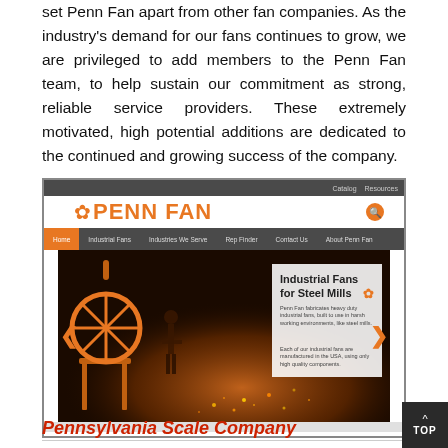set Penn Fan apart from other fan companies. As the industry's demand for our fans continues to grow, we are privileged to add members to the Penn Fan team, to help sustain our commitment as strong, reliable service providers. These extremely motivated, high potential additions are dedicated to the continued and growing success of the company.
[Figure (screenshot): Screenshot of Penn Fan website homepage showing logo, navigation bar with Home, Industrial Fans, Industries We Serve, Rep Finder, Contact Us, About Penn Fan, and a hero image of an industrial fan in a steel mill setting with overlay text 'Industrial Fans for Steel Mills']
Pennsylvania Scale Company